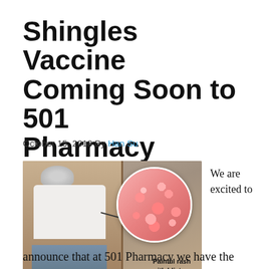Shingles Vaccine Coming Soon to 501 Pharmacy
October 15, 2018 By Han Su
[Figure (photo): Elderly woman lifting shirt to show rash on her side, with a circular inset showing a close-up of a painful rash with blisters labeled 'Painful rash with blisters']
We are excited to
announce that at 501 Pharmacy we have the